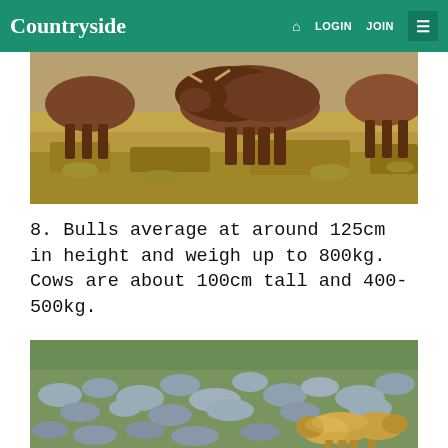Countryside | LOGIN JOIN
[Figure (photo): Highland cattle grazing on dry grassland, brown shaggy cattle visible against straw-colored moorland grass]
8. Bulls average at around 125cm in height and weigh up to 800kg. Cows are about 100cm tall and 400-500kg.
[Figure (photo): Group of golden/tan Highland cattle resting among rocks on a green hillside with scattered boulders]